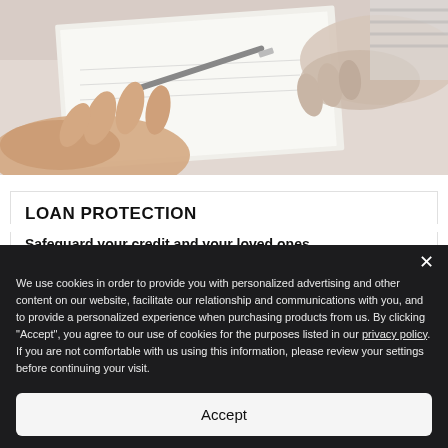[Figure (photo): Photo of two people reviewing and signing documents on a clipboard, hands and paper visible on a desk]
LOAN PROTECTION
Safeguard your credit and your loved ones.
What's covered?
Kia Protect Loan Protection is a life, critical illness, loss of employment and disability benefits plan that protects your financial
We use cookies in order to provide you with personalized advertising and other content on our website, facilitate our relationship and communications with you, and to provide a personalized experience when purchasing products from us. By clicking "Accept", you agree to our use of cookies for the purposes listed in our privacy policy. If you are not comfortable with us using this information, please review your settings before continuing your visit.
Accept